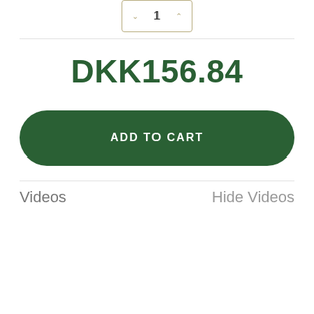[Figure (screenshot): Quantity selector box with up/down arrows and value 1, centered at top of page]
DKK156.84
ADD TO CART
Videos
Hide Videos